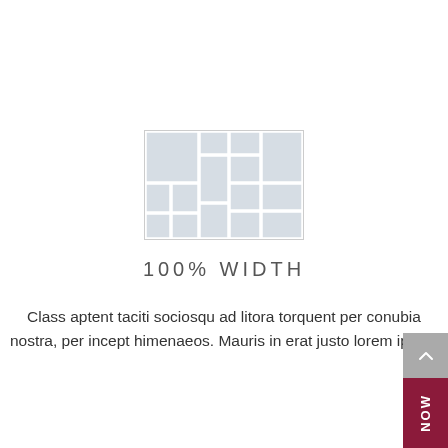[Figure (table-as-image): A placeholder/mockup image showing a grid of rectangular blocks arranged like a mosaic layout in light gray and white, with a thin border around the entire grid.]
100% WIDTH
Class aptent taciti sociosqu ad litora torquent per conubia nostra, per incept himenaeos. Mauris in erat justo lorem ipsum